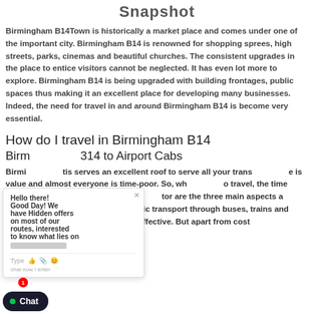Snapshot
Birmingham B14Town is historically a market place and comes under one of the important city. Birmingham B14 is renowned for shopping sprees, high streets, parks, cinemas and beautiful churches. The consistent upgrades in the place to entice visitors cannot be neglected. It has even lot more to explore. Birmingham B14 is being upgraded with building frontages, public spaces thus making it an excellent place for developing many businesses. Indeed, the need for travel in and around Birmingham B14 is become very essential.
How do I travel in Birmingham B14
Birmingham B14 to Airport Cabs
Birmingham [text partially obscured by chat popup] is serves an excellent roof to serve all your trans[port needs] [e is value and almost everyone is time-poor. So, wh[en you need t]o travel, the time factor, the cost factor and the c[omfort fa]ctor are the three main aspects a rationale traveler will consider. Public transport through buses, trains and [is] admirable for being cost-effective. But apart from cost fact[ors...]